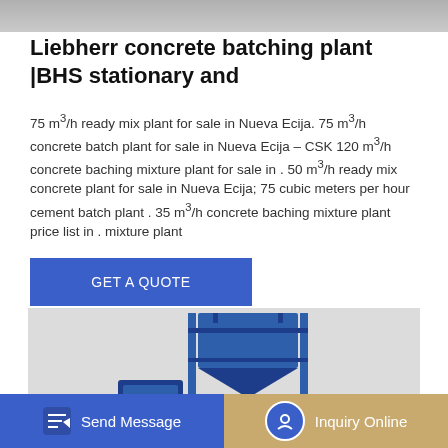[Figure (photo): Top portion of a concrete batching plant photo (gray background, partial view)]
Liebherr concrete batching plant |BHS stationary and
75 m³/h ready mix plant for sale in Nueva Ecija. 75 m³/h concrete batch plant for sale in Nueva Ecija – CSK 120 m³/h concrete baching mixture plant for sale in . 50 m³/h ready mix concrete plant for sale in Nueva Ecija; 75 cubic meters per hour cement batch plant . 35 m³/h concrete baching mixture plant price list in . mixture plant
GET A QUOTE
[Figure (photo): Blue concrete batching plant / mixer equipment on white/gray background, with partial text 'S5' visible at bottom]
Send Message  |  Inquiry Online